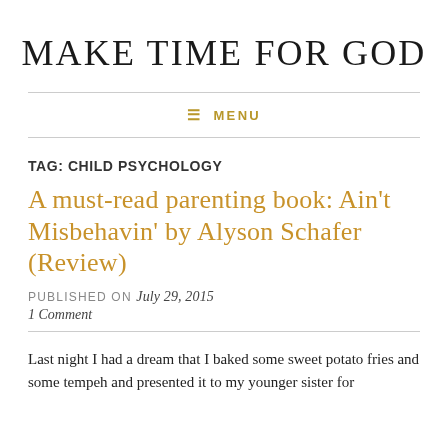MAKE TIME FOR GOD
≡ MENU
TAG: CHILD PSYCHOLOGY
A must-read parenting book: Ain't Misbehavin' by Alyson Schafer (Review)
PUBLISHED ON July 29, 2015
1 Comment
Last night I had a dream that I baked some sweet potato fries and some tempeh and presented it to my younger sister for